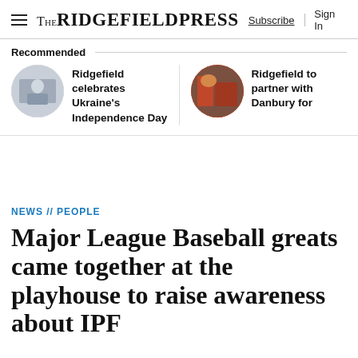THE RIDGEFIELD PRESS  Subscribe  Sign In
Recommended
Ridgefield celebrates Ukraine's Independence Day
Ridgefield to partner with Danbury for
NEWS // PEOPLE
Major League Baseball greats came together at the playhouse to raise awareness about IPF